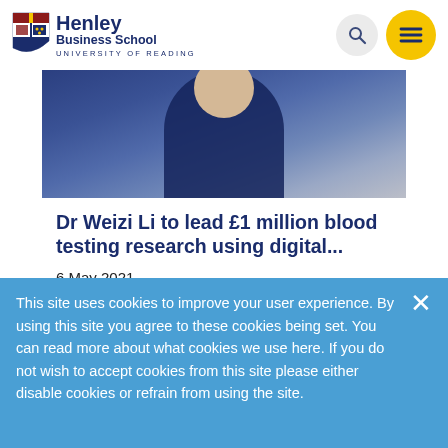Henley Business School — University of Reading
[Figure (photo): Person wearing a dark navy blue polo shirt, cropped to show torso only, with a blurred background]
Dr Weizi Li to lead £1 million blood testing research using digital...
6 May 2021
Dr Weizi (Vicky) Li from Henley Business
This site uses cookies to improve your user experience. By using this site you agree to these cookies being set. You can read more about what cookies we use here. If you do not wish to accept cookies from this site please either disable cookies or refrain from using the site.